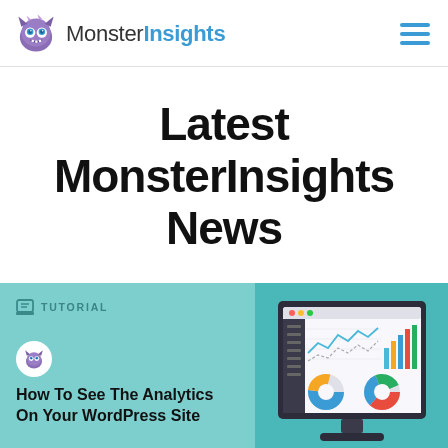MonsterInsights
Latest MonsterInsights News
[Figure (screenshot): Tutorial card with MonsterInsights branding showing analytics dashboard on a monitor]
TUTORIAL
How To See The Analytics On Your WordPress Site